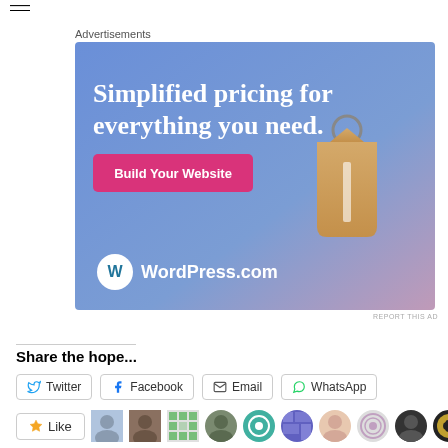Advertisements
[Figure (illustration): WordPress.com advertisement banner: gradient blue-purple background, text 'Simplified pricing for everything you need.', pink button 'Build Your Website', price tag illustration, WordPress.com logo.]
REPORT THIS AD
Share the hope...
Twitter  Facebook  Email  WhatsApp
Like  [follower avatars]